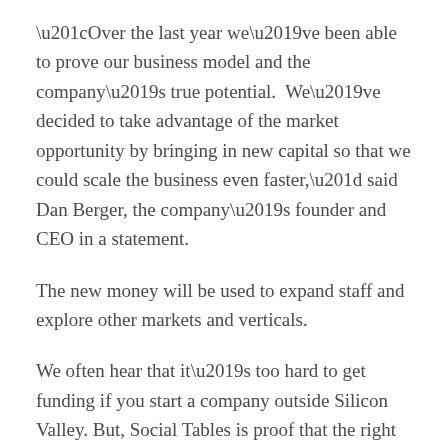“Over the last year we’ve been able to prove our business model and the company’s true potential.  We’ve decided to take advantage of the market opportunity by bringing in new capital so that we could scale the business even faster,” said Dan Berger, the company’s founder and CEO in a statement.
The new money will be used to expand staff and explore other markets and verticals.
We often hear that it’s too hard to get funding if you start a company outside Silicon Valley. But, Social Tables is proof that the right companies everywhere else can be just as successful at raising money as companies in the Valley.